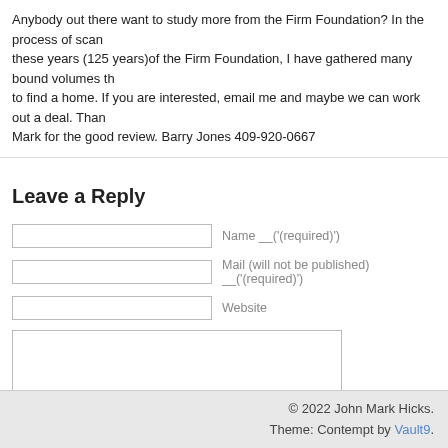Anybody out there want to study more from the Firm Foundation? In the process of scanning these years (125 years)of the Firm Foundation, I have gathered many bound volumes that need to find a home. If you are interested, email me and maybe we can work out a deal. Thank Mark for the good review. Barry Jones 409-920-0667
Leave a Reply
Name __('(required)')
Mail (will not be published) __('(required)')
Website
Submit Comment
© 2022 John Mark Hicks. Theme: Contempt by Vault9.